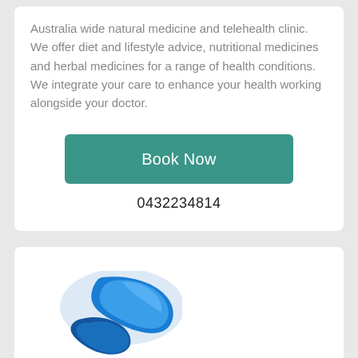Australia wide natural medicine and telehealth clinic. We offer diet and lifestyle advice, nutritional medicines and herbal medicines for a range of health conditions. We integrate your care to enhance your health working alongside your doctor.
[Figure (other): Teal 'Book Now' button]
0432234814
[Figure (logo): Psychologic logo: blue teardrop/swirl shape above partially visible text 'Psychologic' in dark blue]